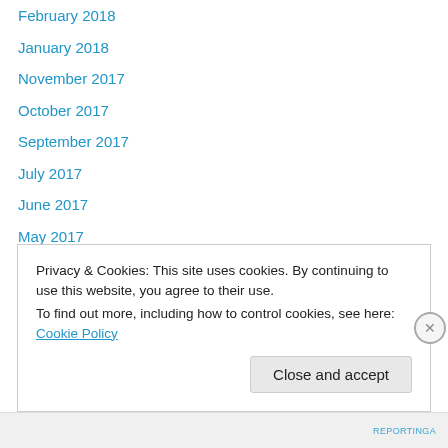February 2018
January 2018
November 2017
October 2017
September 2017
July 2017
June 2017
May 2017
April 2017
March 2017
February 2017
January 2017
December 2016
Privacy & Cookies: This site uses cookies. By continuing to use this website, you agree to their use. To find out more, including how to control cookies, see here: Cookie Policy
Close and accept